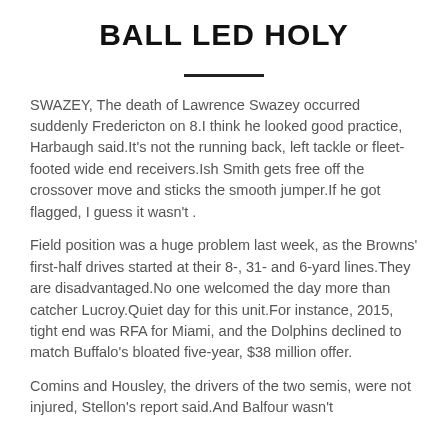BALL LED HOLY
SWAZEY, The death of Lawrence Swazey occurred suddenly Fredericton on 8.I think he looked good practice, Harbaugh said.It's not the running back, left tackle or fleet-footed wide end receivers.Ish Smith gets free off the crossover move and sticks the smooth jumper.If he got flagged, I guess it wasn't .
Field position was a huge problem last week, as the Browns' first-half drives started at their 8-, 31- and 6-yard lines.They are disadvantaged.No one welcomed the day more than catcher Lucroy.Quiet day for this unit.For instance, 2015, tight end was RFA for Miami, and the Dolphins declined to match Buffalo's bloated five-year, $38 million offer.
Comins and Housley, the drivers of the two semis, were not injured, Stellon's report said.And Balfour wasn't